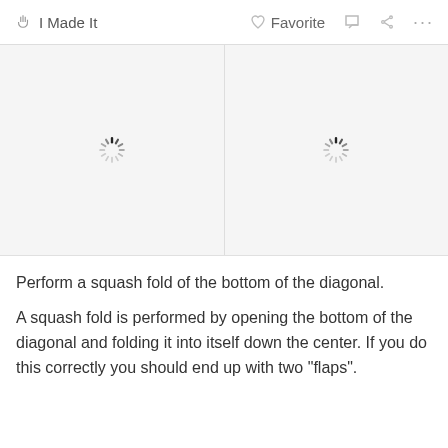I Made It  Favorite  ...
[Figure (photo): Two side-by-side image placeholders with loading spinners, indicating images are loading.]
Perform a squash fold of the bottom of the diagonal.
A squash fold is performed by opening the bottom of the diagonal and folding it into itself down the center. If you do this correctly you should end up with two "flaps".